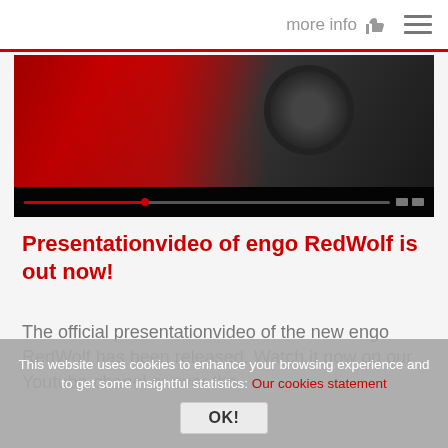more info  ☰
[Figure (screenshot): Video player screenshot showing partial view of engo RedWolf product with red and black colors, video progress bar at bottom]
Presentationvideo of engo RedWolf is out now!
The official presentationvideo of the new engo RedWolf has been released. Watch it now on our Youtube-chanel or over the
This website uses cookies to enhance your browsing experience and to get some insightful statistics: Our cookies statement
OK!